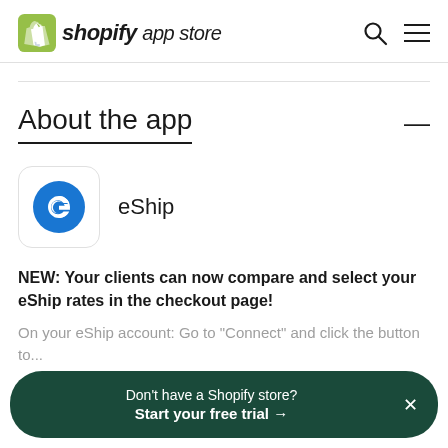shopify app store
About the app
[Figure (logo): eShip app logo — blue letter e on white rounded square background]
eShip
NEW: Your clients can now compare and select your eShip rates in the checkout page!
On your eShip account: Go to "Connect" and click the button to...
Don't have a Shopify store? Start your free trial →